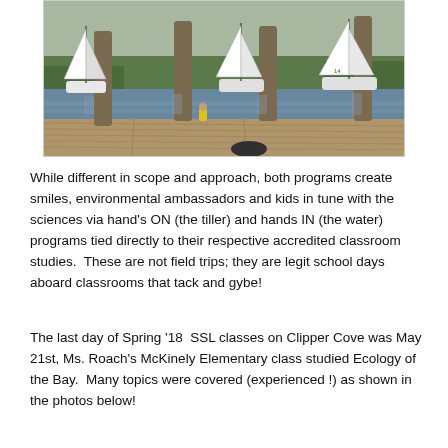[Figure (photo): Outdoor sailing scene at a marina dock. Several white sailboats are visible on the water near a wooden dock with large pilings. A person in a yellow shirt is visible on the dock, and other people are on the sailboats. Trees and greenery are in the background.]
While different in scope and approach, both programs create smiles, environmental ambassadors and kids in tune with the sciences via hand's ON (the tiller) and hands IN (the water) programs tied directly to their respective accredited classroom studies.  These are not field trips; they are legit school days aboard classrooms that tack and gybe!
The last day of Spring '18  SSL classes on Clipper Cove was May 21st, Ms. Roach's McKinely Elementary class studied Ecology of the Bay.  Many topics were covered (experienced !) as shown in the photos below!